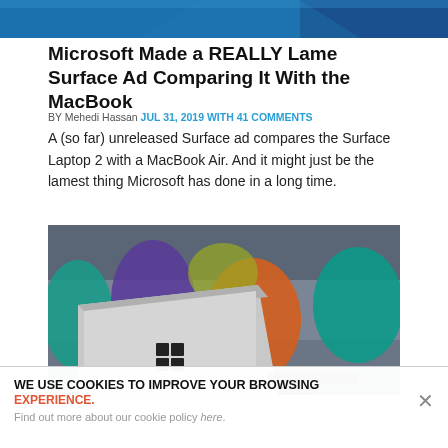[Figure (photo): Decorative header image with blue gradient/abstract design]
Microsoft Made a REALLY Lame Surface Ad Comparing It With the MacBook
BY Mehedi Hassan JUL 31, 2019 WITH 41 COMMENTS
A (so far) unreleased Surface ad compares the Surface Laptop 2 with a MacBook Air. And it might just be the lamest thing Microsoft has done in a long time.
[Figure (photo): Photo of a Microsoft Surface Laptop 2 showing its back with the Windows logo, placed in front of a couch with colorful pillows (teal, orange, purple, yellow)]
WE USE COOKIES TO IMPROVE YOUR BROWSING EXPERIENCE. Find out more about our cookie policy here.